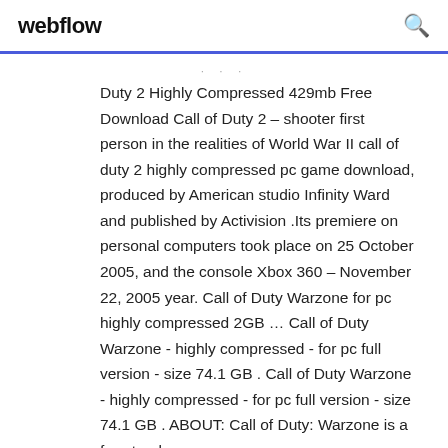webflow
Duty 2 Highly Compressed 429mb Free Download Call of Duty 2 – shooter first person in the realities of World War II call of duty 2 highly compressed pc game download, produced by American studio Infinity Ward and published by Activision .Its premiere on personal computers took place on 25 October 2005, and the console Xbox 360 – November 22, 2005 year. Call of Duty Warzone for pc highly compressed 2GB … Call of Duty Warzone - highly compressed - for pc full version - size 74.1 GB . Call of Duty Warzone - highly compressed - for pc full version - size 74.1 GB . ABOUT: Call of Duty: Warzone is a free-to-play